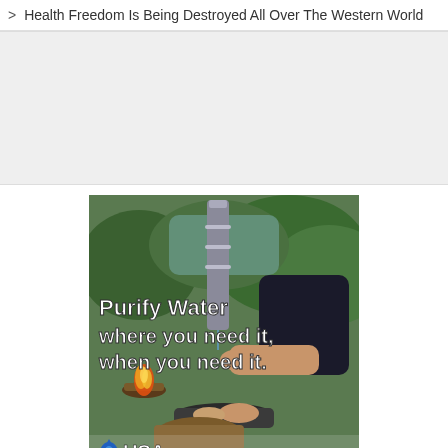Health Freedom Is Being Destroyed All Over The Western World
[Figure (photo): Advertisement photo showing a man purifying water outdoors near a campfire, with a water filter device. Text overlay reads: Purify Water where you need it, when you need it. USA logo at bottom left.]